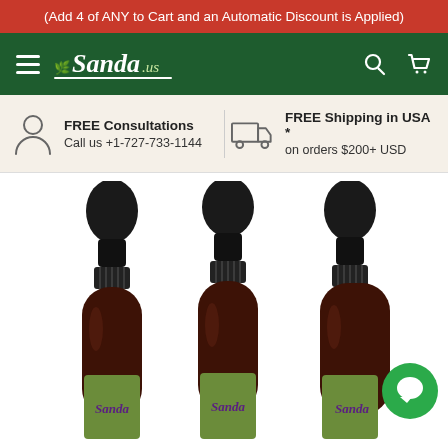(Add 4 of ANY to Cart and an Automatic Discount is Applied)
[Figure (logo): Sanda.us logo in white italic serif font with leaf icon, on dark green navigation bar with hamburger menu, search icon, and cart icon]
FREE Consultations
Call us +1-727-733-1144
FREE Shipping in USA *
on orders $200+ USD
[Figure (photo): Three amber dropper bottles with black rubber bulb droppers and green Sanda-branded labels, arranged side by side. A green chat bubble icon appears in the bottom right corner.]